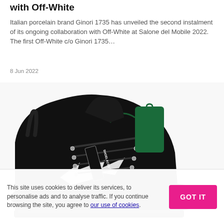with Off-White
Italian porcelain brand Ginori 1735 has unveiled the second instalment of its ongoing collaboration with Off-White at Salone del Mobile 2022. The first Off-White c/o Ginori 1735…
8 Jun 2022
[Figure (photo): Close-up of a black high-top sneaker with white arrow branding and 'SHOELACES' text on the laces, featuring a dark green rectangular hang tag. The shoe appears to be an Off-White collaboration sneaker.]
This site uses cookies to deliver its services, to personalise ads and to analyse traffic. If you continue browsing the site, you agree to our use of cookies.